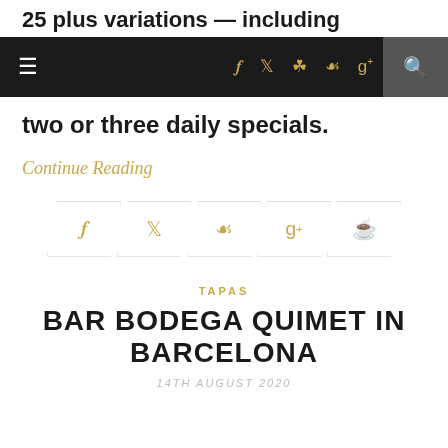25 plus variations — including
navigation bar with hamburger menu, social icons (f, twitter, instagram, pinterest, g+), and search
two or three daily specials.
Continue Reading
[Figure (infographic): Social share buttons row: facebook, twitter, pinterest, google+, comment icons in parallelogram/ribbon style gold on white with light border]
TAPAS
BAR BODEGA QUIMET IN BARCELONA
14TH AUGUST 2020